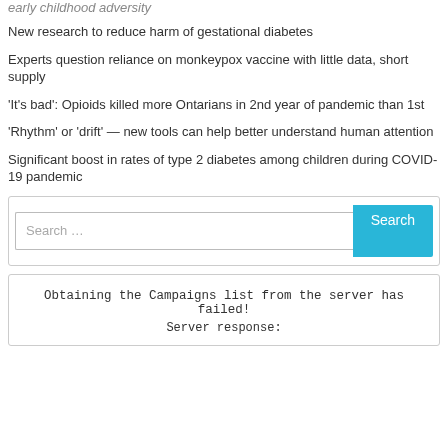early childhood adversity
New research to reduce harm of gestational diabetes
Experts question reliance on monkeypox vaccine with little data, short supply
'It's bad': Opioids killed more Ontarians in 2nd year of pandemic than 1st
'Rhythm' or 'drift' — new tools can help better understand human attention
Significant boost in rates of type 2 diabetes among children during COVID-19 pandemic
[Figure (screenshot): Search box with 'Search ...' placeholder and a cyan 'Search' button]
Obtaining the Campaigns list from the server has failed!
Server response: